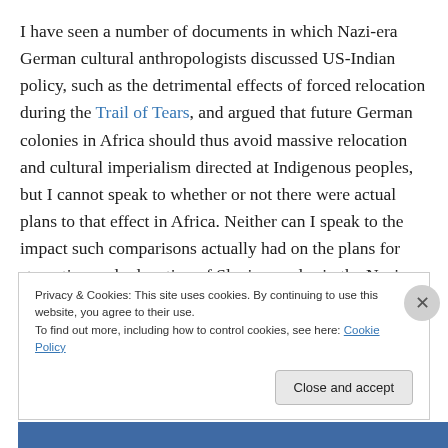I have seen a number of documents in which Nazi-era German cultural anthropologists discussed US-Indian policy, such as the detrimental effects of forced relocation during the Trail of Tears, and argued that future German colonies in Africa should thus avoid massive relocation and cultural imperialism directed at Indigenous peoples, but I cannot speak to whether or not there were actual plans to that effect in Africa. Neither can I speak to the impact such comparisons actually had on the plans for starvation and relocation of Slavic peoples in the Nazi
Privacy & Cookies: This site uses cookies. By continuing to use this website, you agree to their use.
To find out more, including how to control cookies, see here: Cookie Policy
Close and accept